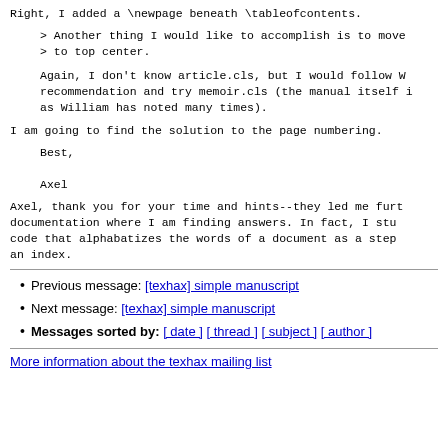Right, I added a \newpage beneath \tableofcontents.
> Another thing I would like to accomplish is to move
> to top center.
Again, I don't know article.cls, but I would follow W recommendation and try memoir.cls (the manual itself as William has noted many times).
I am going to find the solution to the page numbering.
Best,

Axel
Axel, thank you for your time and hints--they led me furt documentation where I am finding answers. In fact, I stu code that alphabatizes the words of a document as a step an index.
Previous message: [texhax] simple manuscript
Next message: [texhax] simple manuscript
Messages sorted by: [ date ] [ thread ] [ subject ] [ author ]
More information about the texhax mailing list